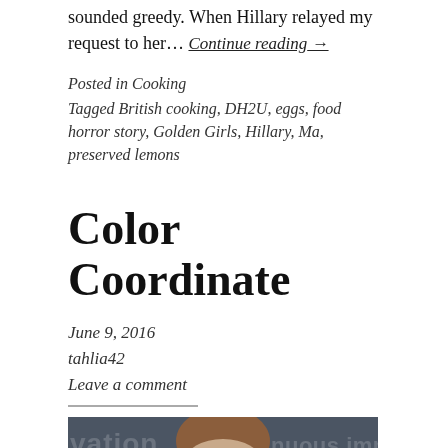sounded greedy. When Hillary relayed my request to her… Continue reading →
Posted in Cooking
Tagged British cooking, DH2U, eggs, food horror story, Golden Girls, Hillary, Ma, preserved lemons
Color Coordinate
June 9, 2016
tahlia42
Leave a comment
[Figure (photo): Photo of a person with brown hair in front of a dark background with text 'innovation', 'continuous improvement', 'customer', 'focus', 'quality']